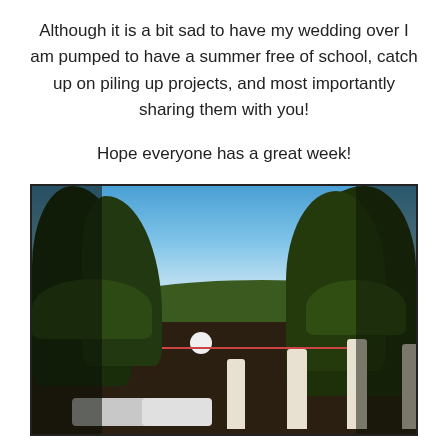Although it is a bit sad to have my wedding over I am pumped to have a summer free of school, catch up on piling up projects, and most importantly sharing them with you!
Hope everyone has a great week!
[Figure (photo): Outdoor wedding venue scene with lush green trees framing a blue sky, white umbrellas set up on the ground, cars parked, hills in the background, and festive decorations.]